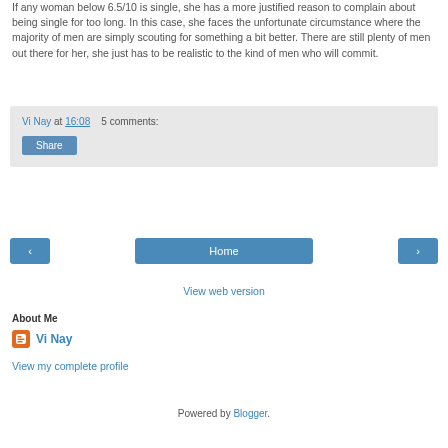If any woman below 6.5/10 is single, she has a more justified reason to complain about being single for too long. In this case, she faces the unfortunate circumstance where the majority of men are simply scouting for something a bit better. There are still plenty of men out there for her, she just has to be realistic to the kind of men who will commit.
Vi Nay at 16:08   5 comments:
Share
< Home >
View web version
About Me
Vi Nay
View my complete profile
Powered by Blogger.